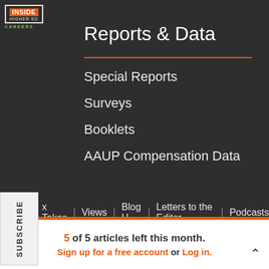[Figure (logo): Inside Higher Ed Careers logo - orange box with INSIDE text and green CAREERS label]
Reports & Data
Special Reports
Surveys
Booklets
AAUP Compensation Data
x Takes | Views | Blog U | Letters to the Editor | Podcasts | Topics | Sponsored Content
5 of 5 articles left this month.
Sign up for a free account or Log in.